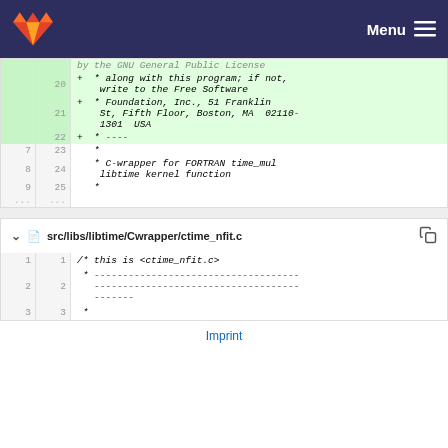Menu
| old | new | code |
| --- | --- | --- |
|  | 20 | + * along with this program; if not, write to the Free Software |
|  | 21 | + * Foundation, Inc., 51 Franklin St, Fifth Floor, Boston, MA  02110-1301  USA |
|  | 22 | + * ---- |
| 7 | 23 |   * |
| 8 | 24 |   * C-wrapper for FORTRAN time_mul libtime kernel function |
| 9 | 25 |   * |
| ... | ... |  |
src/libs/libtime/Cwrapper/ctime_nfit.c
| old | new | code |
| --- | --- | --- |
| 1 | 1 | /* this is <ctime_nfit.c> |
| 2 | 2 |  * ----------------------------------------------------------------------- |
| 3 | 3 |  * |
Imprint